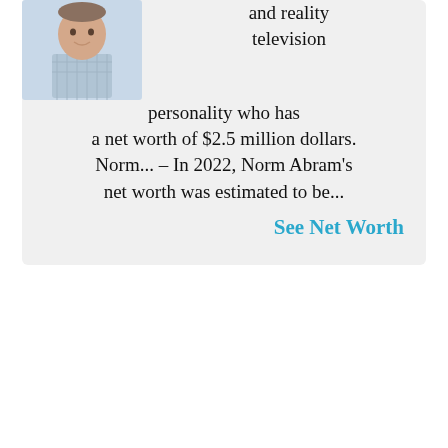[Figure (photo): Photo of a man in a plaid/checkered light blue collared shirt, smiling slightly, cropped headshot]
and reality television personality who has a net worth of $2.5 million dollars. Norm... – In 2022, Norm Abram's net worth was estimated to be...
See Net Worth
[Figure (other): Close/X button circle]
NEXT →
on Newz Online